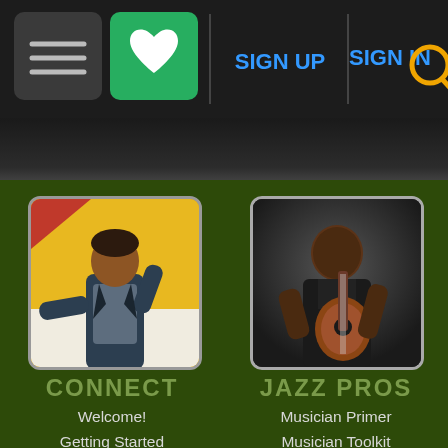[Figure (screenshot): Navigation bar with hamburger menu, heart/favorites button, SIGN UP and SIGN IN links, and search icon on dark background]
[Figure (photo): Young man in leather jacket on yellow background, pointing forward — Connect section thumbnail]
CONNECT
Welcome!
Getting Started
Staff Directory
Contact Us
FAQ
[Figure (photo): Black guitarist playing guitar on dark background — Jazz Pros section thumbnail]
JAZZ PROS
Musician Primer
Musician Toolkit
Gig Finder
Musician Finder
Publicist's Guide